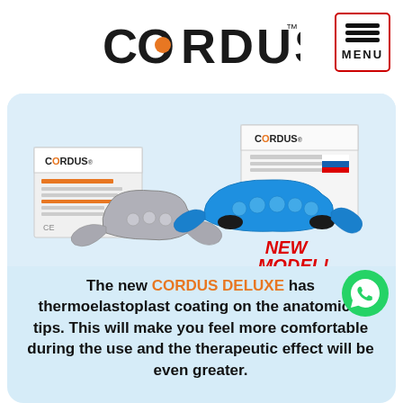CORDUS™
[Figure (photo): Product photo showing two Cordus devices: a gray model and a blue Cordus Deluxe model, each with their product boxes. Text overlay reads 'NEW MODEL!' in red.]
The new CORDUS DELUXE has thermoelastoplast coating on the anatomical tips. This will make you feel more comfortable during the use and the therapeutic effect will be even greater.